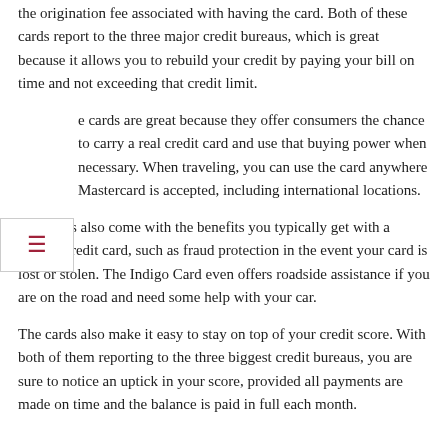the origination fee associated with having the card. Both of these cards report to the three major credit bureaus, which is great because it allows you to rebuild your credit by paying your bill on time and not exceeding that credit limit.
e cards are great because they offer consumers the chance to carry a real credit card and use that buying power when necessary. When traveling, you can use the card anywhere Mastercard is accepted, including international locations.
The cards also come with the benefits you typically get with a regular credit card, such as fraud protection in the event your card is lost or stolen. The Indigo Card even offers roadside assistance if you are on the road and need some help with your car.
The cards also make it easy to stay on top of your credit score. With both of them reporting to the three biggest credit bureaus, you are sure to notice an uptick in your score, provided all payments are made on time and the balance is paid in full each month.